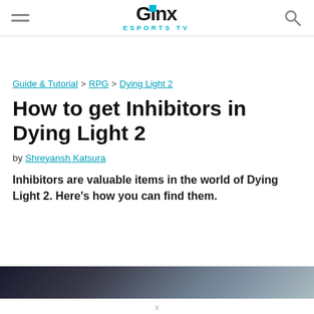GINX ESPORTS TV
Guide & Tutorial > RPG > Dying Light 2
How to get Inhibitors in Dying Light 2
by Shreyansh Katsura
Inhibitors are valuable items in the world of Dying Light 2. Here's how you can find them.
[Figure (photo): Dark atmospheric game screenshot strip at the bottom of the page]